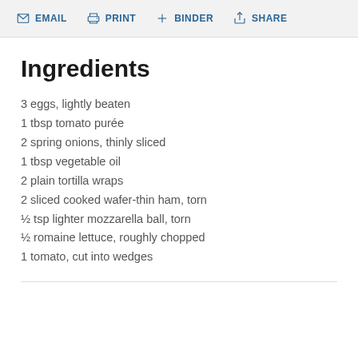EMAIL  PRINT  + BINDER  SHARE
Ingredients
3 eggs, lightly beaten
1 tbsp tomato purée
2 spring onions, thinly sliced
1 tbsp vegetable oil
2 plain tortilla wraps
2 sliced cooked wafer-thin ham, torn
½ tsp lighter mozzarella ball, torn
½ romaine lettuce, roughly chopped
1 tomato, cut into wedges